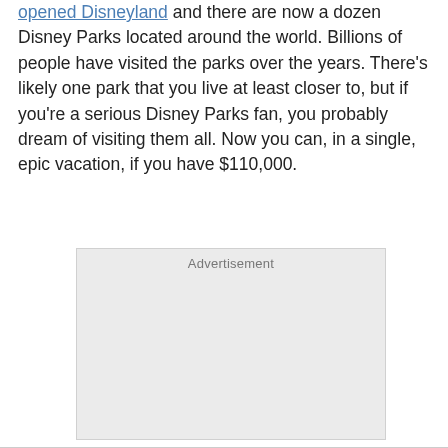opened Disneyland and there are now a dozen Disney Parks located around the world. Billions of people have visited the parks over the years. There's likely one park that you live at least closer to, but if you're a serious Disney Parks fan, you probably dream of visiting them all. Now you can, in a single, epic vacation, if you have $110,000.
[Figure (other): Advertisement placeholder box with light gray background]